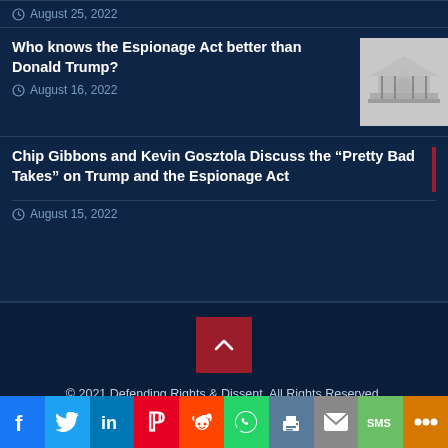August 25, 2022
Who knows the Espionage Act better than Donald Trump?
August 16, 2022
Chip Gibbons and Kevin Gosztola Discuss the “Pretty Bad Takes” on Trump and the Espionage Act
August 15, 2022
© 2021 Defending Rights & Dissent. All Rights Reserved.
[Figure (screenshot): Social media share bar with icons for Facebook, Twitter, LinkedIn, Pinterest, Reddit, WhatsApp, Print, Email, SMS, and More]